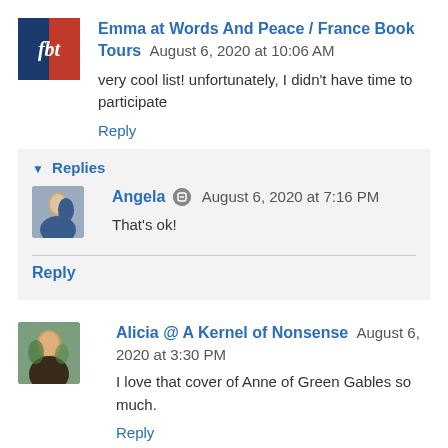[Figure (photo): Avatar for Emma at Words And Peace / France Book Tours - shows a logo with French flag colors and stylized text]
Emma at Words And Peace / France Book Tours August 6, 2020 at 10:06 AM
very cool list! unfortunately, I didn't have time to participate
Reply
▾ Replies
[Figure (photo): Avatar for Angela - shows a couple photo]
Angela August 6, 2020 at 7:16 PM
That's ok!
Reply
[Figure (photo): Avatar for Alicia @ A Kernel of Nonsense - shows a woman with flowers]
Alicia @ A Kernel of Nonsense August 6, 2020 at 3:30 PM
I love that cover of Anne of Green Gables so much.
Reply